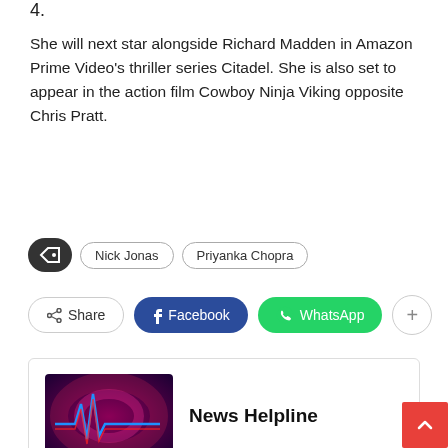4.
She will next star alongside Richard Madden in Amazon Prime Video's thriller series Citadel. She is also set to appear in the action film Cowboy Ninja Viking opposite Chris Pratt.
Tags: Nick Jonas, Priyanka Chopra
Share | Facebook | WhatsApp | +
[Figure (illustration): News Helpline logo image with red and blue heartbeat lines on dark purple/pink background]
News Helpline
← PREV POST | Golden Era Is Coming To Life – Ponniyin Selvan Title Poster...
NEXT POST → | 5 Heavenly Beauty Tips From Indian Women That Work Wo...